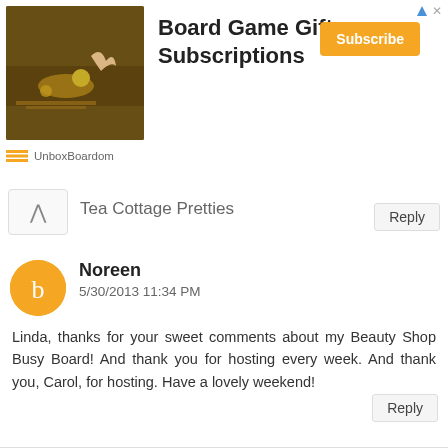[Figure (screenshot): Ad banner for Board Game Gift Subscriptions by UnboxBoardom, with a photo of a board game and an orange Subscribe button]
Tea Cottage Pretties
Reply
Noreen
5/30/2013 11:34 PM
Linda, thanks for your sweet comments about my Beauty Shop Busy Board! And thank you for hosting every week. And thank you, Carol, for hosting. Have a lovely weekend!
Reply
Lisa@hooplapalooza